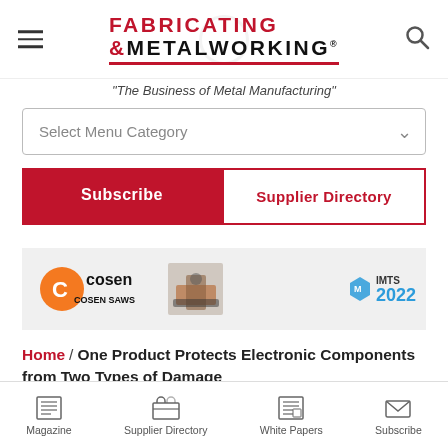[Figure (logo): Fabricating & Metalworking magazine logo with red FABRICATING text, black METALWORKING text, and red underline bar, with hamburger menu icon on left and search icon on right]
"The Business of Metal Manufacturing"
[Figure (other): Select Menu Category dropdown box]
[Figure (other): Subscribe button (red filled) and Supplier Directory button (red outlined) side by side]
[Figure (other): COSEN SAWS and IMTS 2022 advertisement banner]
Home / One Product Protects Electronic Components from Two Types of Damage
[Figure (other): Bottom navigation bar with Magazine, Supplier Directory, White Papers, and Subscribe icons]